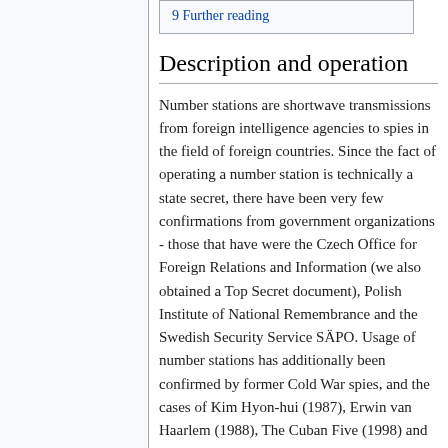9 Further reading
Description and operation
Number stations are shortwave transmissions from foreign intelligence agencies to spies in the field of foreign countries. Since the fact of operating a number station is technically a state secret, there have been very few confirmations from government organizations - those that have were the Czech Office for Foreign Relations and Information (we also obtained a Top Secret document), Polish Institute of National Remembrance and the Swedish Security Service SÄPO. Usage of number stations has additionally been confirmed by former Cold War spies, and the cases of Kim Hyon-hui (1987), Erwin van Haarlem (1988), The Cuban Five (1998) and Andreas and Heindrun Anschlag (2011).
Number stations transmit encrypted messages in forms of groups of numbers, or less commonly letters, using either automated voice (and more). More and more digital